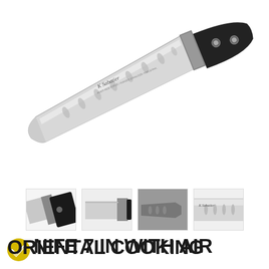[Figure (photo): K Sabatier branded santoku/oriental cooking knife with grooved blade (kullenschliff) and black handle with two rivets, shown diagonally against white background]
[Figure (photo): Four thumbnail images of the knife showing different angles: handle close-up, blade spine, blade with holes close-up, and branded blade label]
ORIENTAL COOKING KNIFE 7 IN WITH AIR